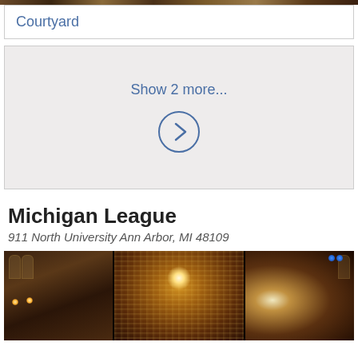[Figure (photo): Top strip showing a building exterior or courtyard photo cropped at the top]
Courtyard
[Figure (other): Show 2 more... button with right arrow circle on grey background]
Michigan League
911 North University Ann Arbor, MI 48109
[Figure (photo): Interior ballroom photo of Michigan League showing string lights curtain and warm lighting]